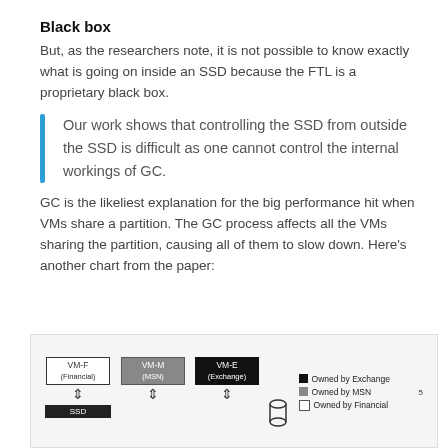Black box
But, as the researchers note, it is not possible to know exactly what is going on inside an SSD because the FTL is a proprietary black box.
Our work shows that controlling the SSD from outside the SSD is difficult as one cannot control the internal workings of GC.
GC is the likeliest explanation for the big performance hit when VMs share a partition. The GC process affects all the VMs sharing the partition, causing all of them to slow down. Here’s another chart from the paper:
[Figure (schematic): Diagram showing three VMs (VM-F Financial, VM-M MSN, VM-E Exchange) connected to an SSD with a legend showing Owned by Exchange, Owned by MSN, Owned by Financial, and a partial y-axis with value 5.]